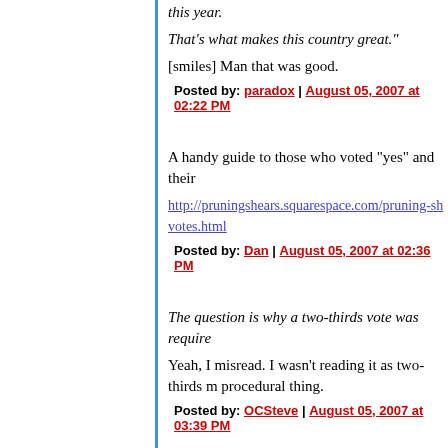this year.
That's what makes this country great."
[smiles] Man that was good.
Posted by: paradox | August 05, 2007 at 02:22 PM
A handy guide to those who voted "yes" and their
http://pruningshears.squarespace.com/pruning-sh votes.html
Posted by: Dan | August 05, 2007 at 02:36 PM
The question is why a two-thirds vote was require
Yeah, I misread. I wasn't reading it as two-thirds m procedural thing.
Posted by: OCSteve | August 05, 2007 at 03:39 PM
"Motivated by good intentions?" Karl Rove's? Dick Mitch McConnell's, Melanie Morgan's and Bill O'R